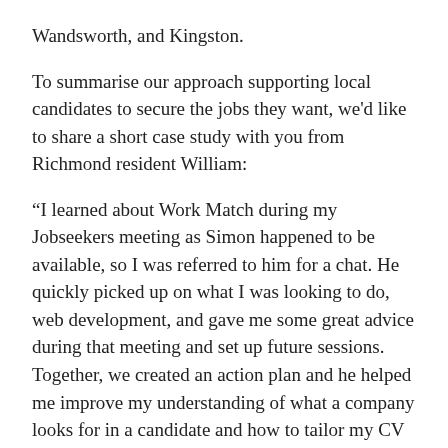Wandsworth, and Kingston.
To summarise our approach supporting local candidates to secure the jobs they want, we'd like to share a short case study with you from Richmond resident William:
“I learned about Work Match during my Jobseekers meeting as Simon happened to be available, so I was referred to him for a chat. He quickly picked up on what I was looking to do, web development, and gave me some great advice during that meeting and set up future sessions. Together, we created an action plan and he helped me improve my understanding of what a company looks for in a candidate and how to tailor my CV and cover letter to stand out. He also went above and beyond in reaching out to local businesses